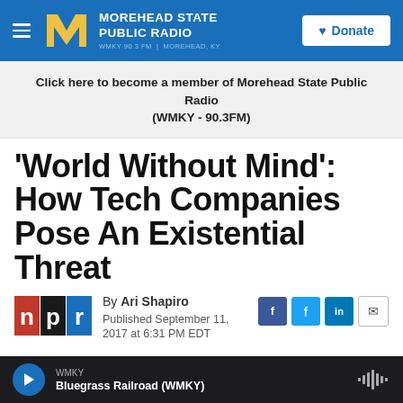MOREHEAD STATE PUBLIC RADIO WMKY 90.3 FM | MOREHEAD, KY — Donate
Click here to become a member of Morehead State Public Radio (WMKY - 90.3FM)
'World Without Mind': How Tech Companies Pose An Existential Threat
By Ari Shapiro
Published September 11, 2017 at 6:31 PM EDT
[Figure (logo): NPR logo — red background with white letters n, p, r in bold]
WMKY — Bluegrass Railroad (WMKY)